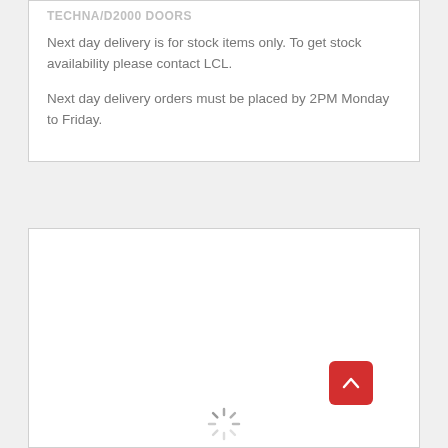TECHNA/D2000 DOORS
Next day delivery is for stock items only. To get stock availability please contact LCL.
Next day delivery orders must be placed by 2PM Monday to Friday.
[Figure (other): Red scroll-to-top button with white upward arrow, and a loading spinner icon below it in an empty white card section]